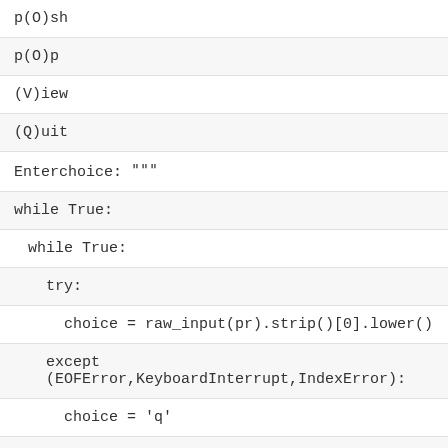p(O)sh
p(O)p
(V)iew
(Q)uit
Enterchoice: """
while True:
while True:
try:
choice = raw_input(pr).strip()[0].lower()
except (EOFError,KeyboardInterrupt,IndexError):
choice = 'q'
print '\nYou picked: [%s]' % choice